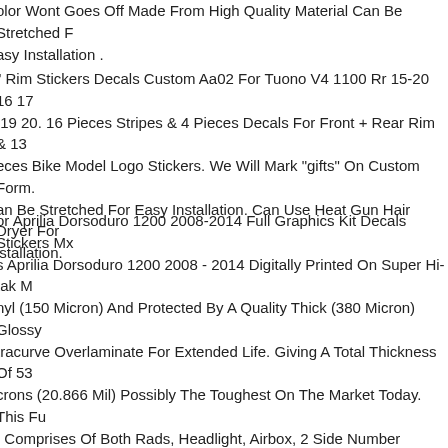olor Wont Goes Off Made From High Quality Material Can Be Stretched F Easy Installation .
" Rim Stickers Decals Custom Aa02 For Tuono V4 1100 Rr 15-20 16 17 19 20. 16 Pieces Stripes & 4 Pieces Decals For Front + Rear Rim & 13 eces Bike Model Logo Stickers. We Will Mark "gifts" On Custom Form. an Be Stretched For Easy Installation. Can Use Heat Gun Hair Dryer For istallation.
or Aprilia Dorsoduro 1200 2008-2014 Full Graphics Kit Decals Stickers Mx s Aprilia Dorsoduro 1200 2008 - 2014 Digitally Printed On Super Hi-tak M nyl (150 Micron) And Protected By A Quality Thick (380 Micron) Glossy tracurve Overlaminate For Extended Life. Giving A Total Thickness Of 53 crons (20.866 Mil) Possibly The Toughest On The Market Today. This Fu : Comprises Of Both Rads, Headlight, Airbox, 2 Side Number Panels, Bo enders, Swing Arm And Lower Fork Stickers. This Design Can Be Done F ny Bikeatv Please Contact Us Regarding Different Models Please Tell Us Ebay Message What Namenumber Logo Etc You Require So We Can end You A Proof Before Printing. Below Are A Few Examples Of Designs. ny Kit Can Be Made For Any Bikeatv We Also Do, Atv Graphics, Pitbike raphics, Kart Graphics, Canvas Prints, Iphone Skins, X-box Skins, Ps3.